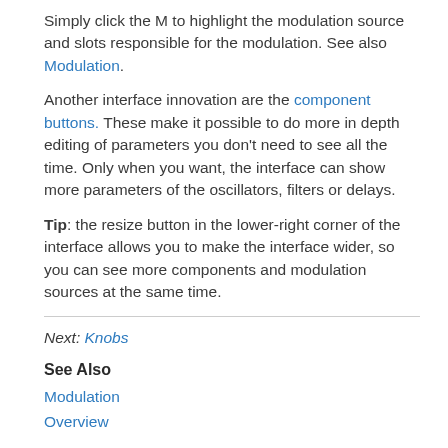Simply click the M to highlight the modulation source and slots responsible for the modulation. See also Modulation.
Another interface innovation are the component buttons. These make it possible to do more in depth editing of parameters you don't need to see all the time. Only when you want, the interface can show more parameters of the oscillators, filters or delays.
Tip: the resize button in the lower-right corner of the interface allows you to make the interface wider, so you can see more components and modulation sources at the same time.
Next: Knobs
See Also
Modulation
Overview